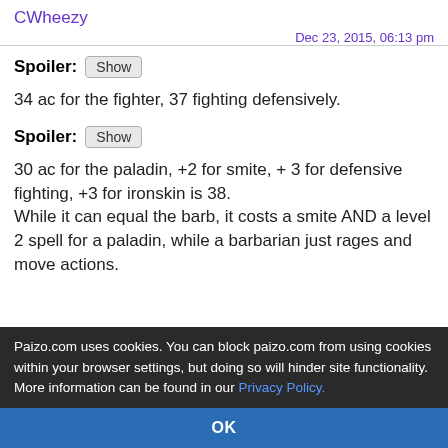CWheezy
Dec 23, 2015, 06:13 pm
Spoiler: Show
34 ac for the fighter, 37 fighting defensively.
Spoiler: Show
30 ac for the paladin, +2 for smite, + 3 for defensive fighting, +3 for ironskin is 38.
While it can equal the barb, it costs a smite AND a level 2 spell for a paladin, while a barbarian just rages and move actions.
Paizo.com uses cookies. You can block paizo.com from using cookies within your browser settings, but doing so will hinder site functionality. More information can be found in our Privacy Policy.
OK